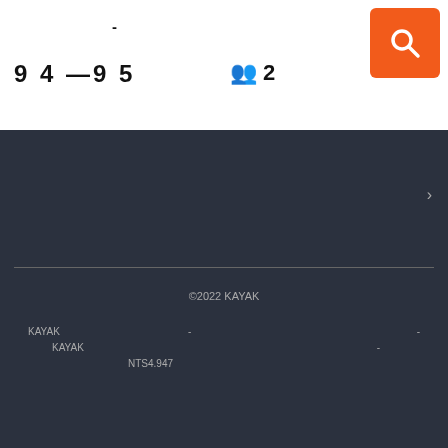- 9 4 —9 5 👥 2
[Figure (screenshot): Orange search button with magnifying glass icon in top right corner]
>
©2022 KAYAK
KAYAK - -
KAYAK -
NTS4.947